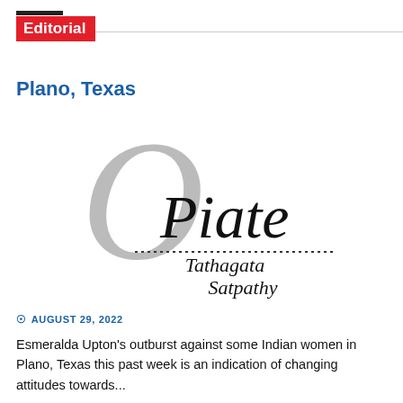Editorial
Plano, Texas
[Figure (logo): OPiate book cover logo with large decorative grey 'O', italic serif text 'Piate', dotted line, and author name 'Tathagata Satpathy']
© AUGUST 29, 2022
Esmeralda Upton's outburst against some Indian women in Plano, Texas this past week is an indication of changing attitudes towards...